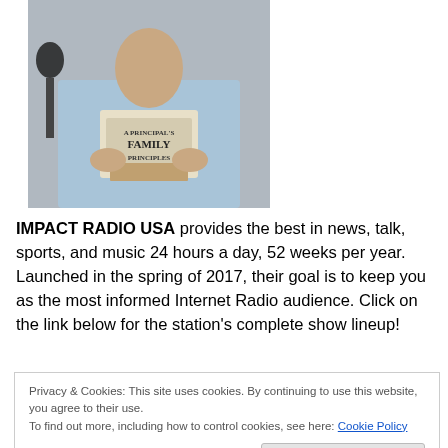[Figure (photo): A person in a light blue shirt holding up a book titled 'A Principal's Family Principles' in front of a microphone]
IMPACT RADIO USA provides the best in news, talk, sports, and music 24 hours a day, 52 weeks per year. Launched in the spring of 2017, their goal is to keep you as the most informed Internet Radio audience. Click on the link below for the station's complete show lineup!
Privacy & Cookies: This site uses cookies. By continuing to use this website, you agree to their use.
To find out more, including how to control cookies, see here: Cookie Policy
Close and accept
(click on the LISTEN NOW button)